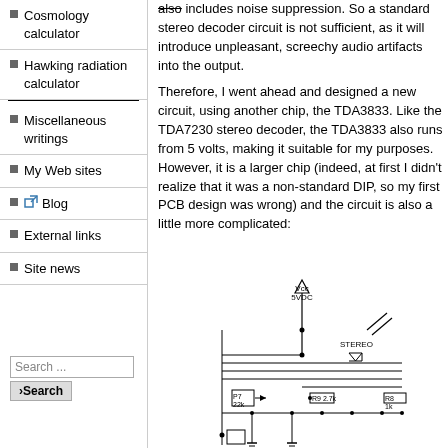Cosmology calculator
Hawking radiation calculator
Miscellaneous writings
My Web sites
Blog
External links
Site news
also includes noise suppression. So a standard stereo decoder circuit is not sufficient, as it will introduce unpleasant, screechy audio artifacts into the output.
Therefore, I went ahead and designed a new circuit, using another chip, the TDA3833. Like the TDA7230 stereo decoder, the TDA3833 also runs from 5 volts, making it suitable for my purposes. However, it is a larger chip (indeed, at first I didn't realize that it was a non-standard DIP, so my first PCB design was wrong) and the circuit is also a little more complicated:
[Figure (circuit-diagram): Partial circuit diagram showing TDA3833 stereo decoder circuit with Vcc 5VDC power supply, STEREO indicator with diode, P7 22k potentiometer, R9 2.7k and R8 1k resistors, and ground connections.]
Search ...